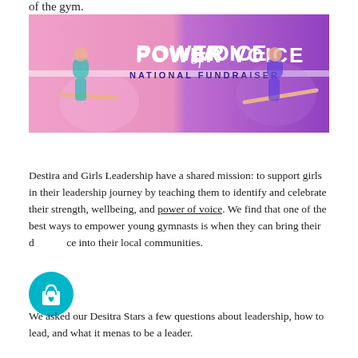of the gym.
[Figure (photo): Banner image for 'Power of Voice National Fundraiser' featuring two young female gymnasts in leotards on pink and purple backgrounds. Text reads 'POWER of VOICE' and 'NATIONAL FUNDRAISER'.]
Destira and Girls Leadership have a shared mission: to support girls in their leadership journey by teaching them to identify and celebrate their strength, wellbeing, and power of voice. We find that one of the best ways to empower young gymnasts is when they can bring their d ce into their local communities.
[Figure (illustration): Teal circular icon with a shopping bag and heart symbol]
We asked our Desitra Stars a few questions about leadership, how to lead, and what it menas to be a leader.